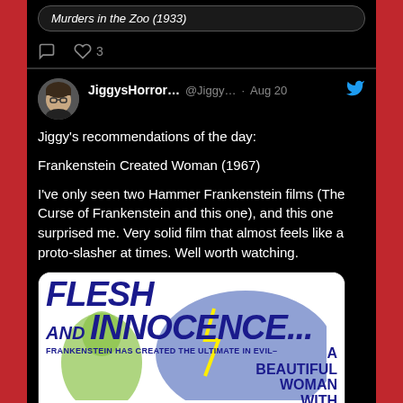[Figure (screenshot): Screenshot of a Twitter/X app showing two tweets on a dark background. The top tweet is partially visible showing 'Murders in the Zoo (1933)' in a rounded bubble with a comment icon and heart icon with 3 likes. The main tweet is from JiggysHorror... (@Jiggy... · Aug 20) with a Twitter bird icon, featuring a profile photo of a person with glasses. The tweet text reads: 'Jiggy's recommendations of the day: Frankenstein Created Woman (1967) I've only seen two Hammer Frankenstein films (The Curse of Frankenstein and this one), and this one surprised me. Very solid film that almost feels like a proto-slasher at times. Well worth watching.' Below the text is a movie poster image showing 'FLESH AND INNOCENCE... FRANKENSTEIN HAS CREATED THE ULTIMATE IN EVIL- A BEAUTIFUL WOMAN WITH']